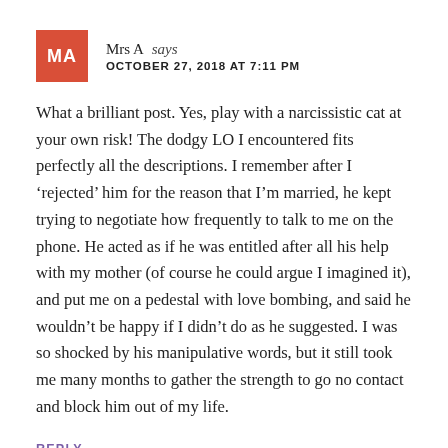MA
Mrs A says
OCTOBER 27, 2018 AT 7:11 PM
What a brilliant post. Yes, play with a narcissistic cat at your own risk! The dodgy LO I encountered fits perfectly all the descriptions. I remember after I ‘rejected’ him for the reason that I’m married, he kept trying to negotiate how frequently to talk to me on the phone. He acted as if he was entitled after all his help with my mother (of course he could argue I imagined it), and put me on a pedestal with love bombing, and said he wouldn’t be happy if I didn’t do as he suggested. I was so shocked by his manipulative words, but it still took me many months to gather the strength to go no contact and block him out of my life.
REPLY